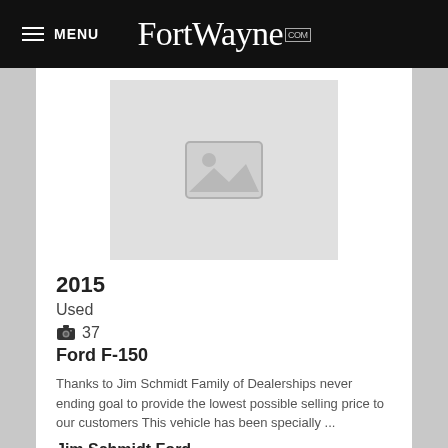MENU FortWayne.com
[Figure (photo): Placeholder image for vehicle listing — gray background with image placeholder icon (mountains and sun)]
2015
Used
📷 37
Ford F-150
Thanks to Jim Schmidt Family of Dealerships never ending goal to provide the lowest possible selling price to our customers This vehicle has been specially ...
Jim Schmidt Ford
View Details
147,162 mi